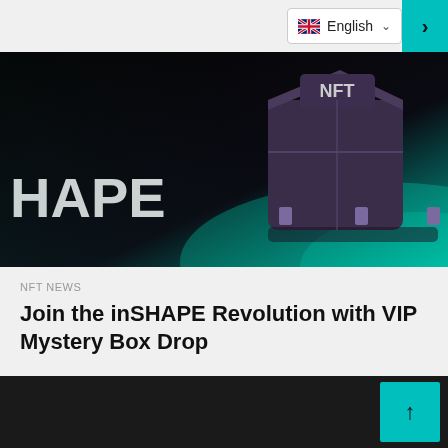English
[Figure (photo): Dark hero banner image with the text 'HAPE' on the left and a 3D NFT mystery box with teal/green glow on the right side, on a dark background.]
NFT NEWS
Join the inSHAPE Revolution with VIP Mystery Box Drop